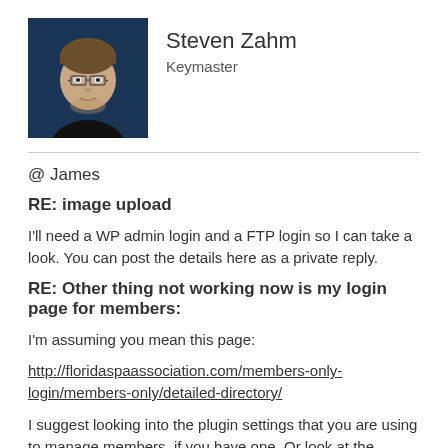[Figure (photo): Profile photo of Steven Zahm, a man with glasses and a dark shirt, against a blue/dark background]
Steven Zahm
Keymaster
@ James
RE: image upload
I'll need a WP admin login and a FTP login so I can take a look. You can post the details here as a private reply.
RE: Other thing not working now is my login page for members:
I'm assuming you mean this page:
http://floridaspaassociation.com/members-only-login/members-only/detailed-directory/
I suggest looking into the plugin settings that you are using to manage members, if you have one. Or look at the settings if you are using a login redirect type of plugin. What you are experiencing would not be related to Connections.